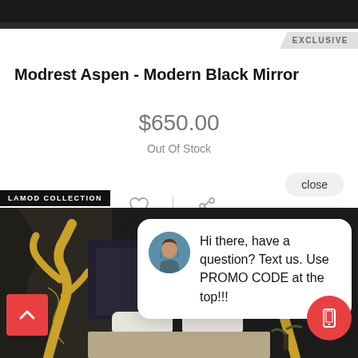[Figure (photo): Top dark image strip of a mirror product]
EXCLUSIVE
Modrest Aspen - Modern Black Mirror
$650.00
Out Of Stock
close
Hi there, have a question? Text us. Use PROMO CODE at the top!!!
LAMOD COLLECTION
[Figure (photo): Luxury dark bedroom with gold antler headboard decoration]